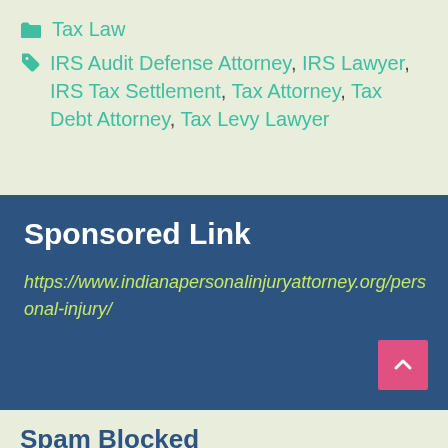Tax Law
IRS Audit Defense Attorney, IRS Lawyer, IRS Tax Settlement, Tax Attorney, Tax Debt Attorney, Tax Levy Lawyer
Sponsored Link
https://www.indianapersonalinjuryattorney.org/personal-injury/
Spam Blocked